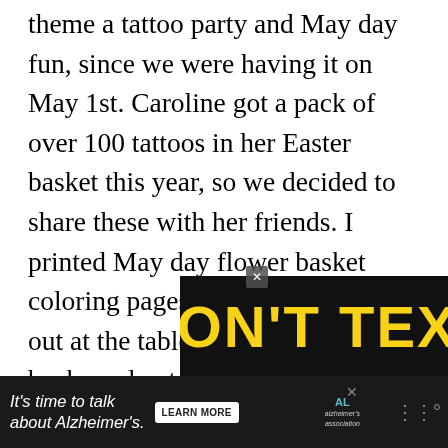theme a tattoo party and May day fun, since we were having it on May 1st. Caroline got a pack of over 100 tattoos in her Easter basket this year, so we decided to share these with her friends. I printed May day flower basket coloring pages, and had crayons out at the table. We also had a backup plan to make little baskets out of dixie cups and ribbon, so we could all go outside and look for wildflowers to pick. We never got to do this because everyone was having so much fun just playing!
[Figure (screenshot): Advertisement banner with yellow bold text 'DON'T TEXT' on black background, and below it an Alzheimer's awareness ad on dark background]